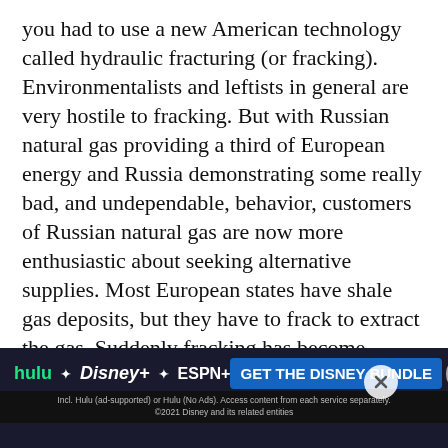you had to use a new American technology called hydraulic fracturing (or fracking). Environmentalists and leftists in general are very hostile to fracking. But with Russian natural gas providing a third of European energy and Russia demonstrating some really bad, and undependable, behavior, customers of Russian natural gas are now more enthusiastic about seeking alternative supplies. Most European states have shale gas deposits, but they have to frack to extract the gas. Suddenly fracking has become pragmatic and even patriotic. Europe is believed to have shale gas deposits almost (about 80 percent the size of) the United States. Meanwhile fracking is not a new threat for Russia. The rapid growth of shale gas in the United States has crippled the ability of Russia to overcharge European customers for Russian natural gas. That is be... (dalli...
[Figure (other): Hulu Disney+ ESPN+ advertisement banner: 'GET THE DISNEY BUNDLE' with fine print about Hulu ad-supported and No Ads options, access from each service separately. ©2021 Disney and its related entities. Includes a teal box with a line chart icon and a close button.]